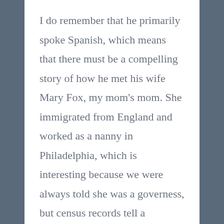I do remember that he primarily spoke Spanish, which means that there must be a compelling story of how he met his wife Mary Fox, my mom's mom. She immigrated from England and worked as a nanny in Philadelphia, which is interesting because we were always told she was a governess, but census records tell a different story. Ancestry on her side only goes back as far as a lighthouse